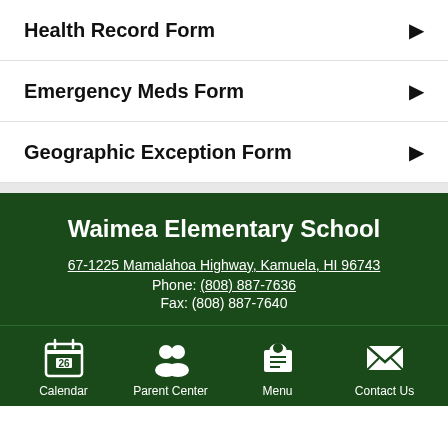Health Record Form
Emergency Meds Form
Geographic Exception Form
Waimea Elementary School
67-1225 Mamalahoa Highway, Kamuela, HI 96743
Phone: (808) 887-7636
Fax: (808) 887-7640
Calendar | Parent Center | Menu | Contact Us